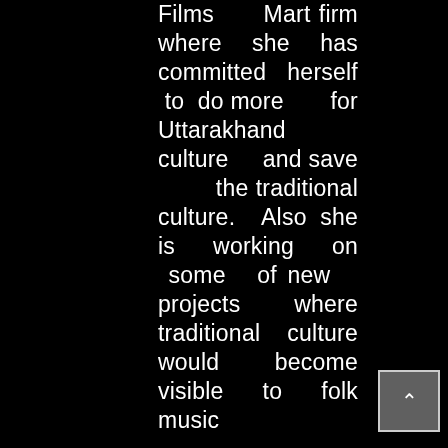Films Mart firm where she has committed herself to do more for Uttarakhand culture and save the traditional culture. Also she is working on some of new projects where traditional culture would become visible to folk music